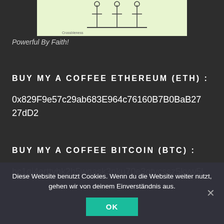[Figure (illustration): Partial illustration on light green background showing line-art figures, cropped at top]
Powerful By Faith!
BUY MY A COFFEE ETHEREUM (ETH) :
0x829F9e57c29ab683E964c76160B7B0BaB2727dD2
BUY MY A COFFEE BITCOIN (BTC) :
bc1qi4erttyhk2h5wqask3nku70e3qtycssz5kyw5l
Diese Website benutzt Cookies. Wenn du die Website weiter nutzt, gehen wir von deinem Einverständnis aus.